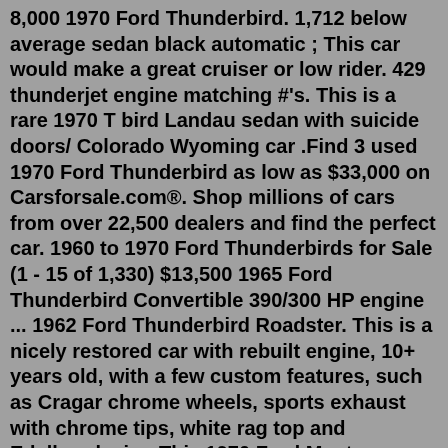( ...) 8,000 1970 Ford Thunderbird. 1,712 below average sedan black automatic ; This car would make a great cruiser or low rider. 429 thunderjet engine matching #'s. This is a rare 1970 T bird Landau sedan with suicide doors/ Colorado Wyoming car .Find 3 used 1970 Ford Thunderbird as low as $33,000 on Carsforsale.com®. Shop millions of cars from over 22,500 dealers and find the perfect car. 1960 to 1970 Ford Thunderbirds for Sale (1 - 15 of 1,330) $13,500 1965 Ford Thunderbird Convertible 390/300 HP engine ... 1962 Ford Thunderbird Roadster. This is a nicely restored car with rebuilt engine, 10+ years old, with a few custom features, such as Cragar chrome wheels, sports exhaust with chrome tips, white rag top and Edelbrock air ...This 1970 Ford Mustang Boss 429 was first delivered to Foulger Ford of Monrovia, California, and it was acquired by the seller in 1982. ... This 2002 Ford Thunderbird is finished in black over red and black leather and is powered by a 3.9-liter V8 paired with a five-speed automatic transmission. The interior is finished in black leather with...